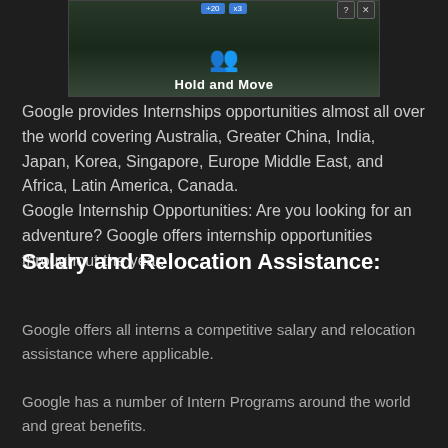[Figure (screenshot): Advertisement banner showing 'Hold and Move' app/game with dark background showing trees and blue icons, with close and help buttons in top right]
Google provides Internships opportunities almost all over the world covering Australia, Greater China, India, Japan, Korea, Singapore, Europe Middle East, and Africa, Latin America, Canada.
Google Internship Opportunities: Are you looking for an adventure? Google offers internship opportunities throughout the year.
Salary and Relocation Assistance:
Google offers all interns a competitive salary and relocation assistance where applicable.
Google has a number of Intern Programs around the world and great benefits.